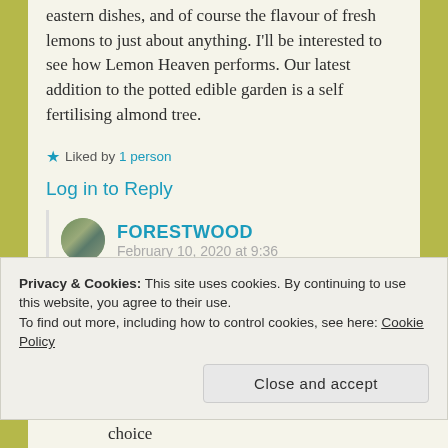eastern dishes, and of course the flavour of fresh lemons to just about anything. I'll be interested to see how Lemon Heaven performs. Our latest addition to the potted edible garden is a self fertilising almond tree.
★ Liked by 1 person
Log in to Reply
FORESTWOOD
Privacy & Cookies: This site uses cookies. By continuing to use this website, you agree to their use.
To find out more, including how to control cookies, see here: Cookie Policy
Close and accept
choice